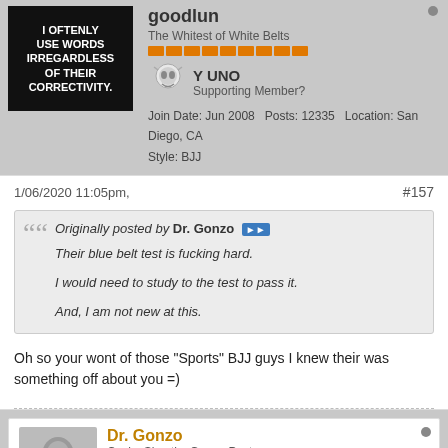goodlun
The Whitest of White Belts
[Figure (illustration): Avatar image with text: I OFTENLY USE WORDS IRREGARDLESS OF THEIR CORRECTIVITY.]
[Figure (illustration): Y UNO meme face with text 'Y UNO Supporting Member?']
Join Date: Jun 2008  Posts: 12335  Location: San Diego, CA
Style: BJJ
1/06/2020 11:05pm,
#157
Originally posted by Dr. Gonzo
Their blue belt test is fucking hard.

I would need to study to the test to pass it.

And, I am not new at this.
Oh so your wont of those "Sports" BJJ guys I knew their was something off about you =)
Dr. Gonzo
Cynic, Skeptic, Gonzo Poster